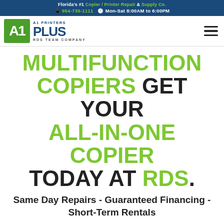Florida's #1 Copier / Printer Repair & Supply Co. | 954-739-1111 | Mon-Sat 8:00AM to 6:00PM
[Figure (logo): A1 Printers Plus logo with green icon block and dark blue text, RDS Team Company]
MULTIFUNCTION COPIERS GET YOUR ALL-IN-ONE COPIER TODAY AT RDS.
Same Day Repairs - Guaranteed Financing - Short-Term Rentals
[Figure (photo): Partial photo of a multifunction copier/printer machine at the bottom of the page]